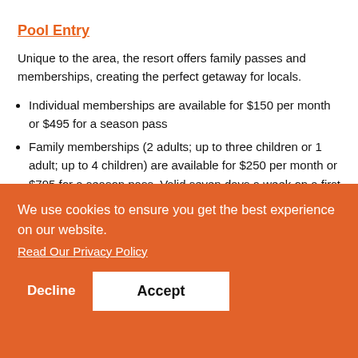Pool Entry
Unique to the area, the resort offers family passes and memberships, creating the perfect getaway for locals.
Individual memberships are available for $150 per month or $495 for a season pass
Family memberships (2 adults; up to three children or 1 adult; up to 4 children) are available for $250 per month or $795 for a season pass. Valid seven days a week on a first come, first serve basis. Two
alid days 2 for oy an tary. ment
We use cookies to ensure you get the best experience on our website.
Read Our Privacy Policy
Decline
Accept